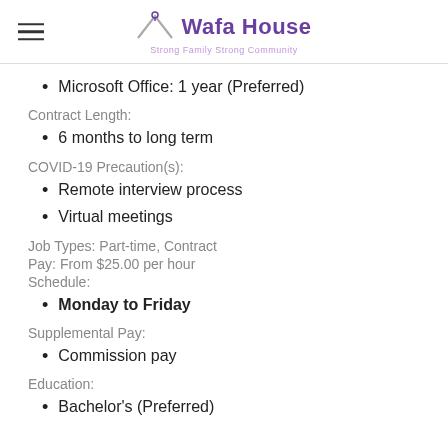Wafa House — Strong Family Strong Community
Microsoft Office: 1 year (Preferred)
Contract Length:
6 months to long term
COVID-19 Precaution(s):
Remote interview process
Virtual meetings
Job Types: Part-time, Contract
Pay: From $25.00 per hour
Schedule:
Monday to Friday
Supplemental Pay:
Commission pay
Education:
Bachelor's (Preferred)